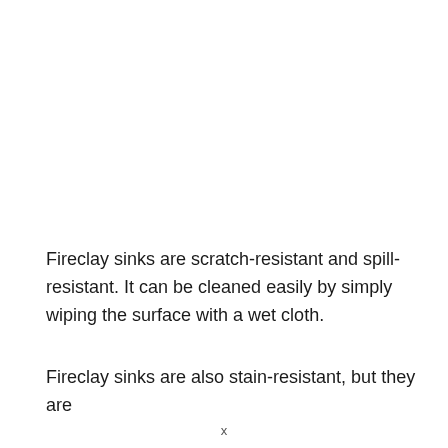Fireclay sinks are scratch-resistant and spill-resistant. It can be cleaned easily by simply wiping the surface with a wet cloth.
Fireclay sinks are also stain-resistant, but they are
x